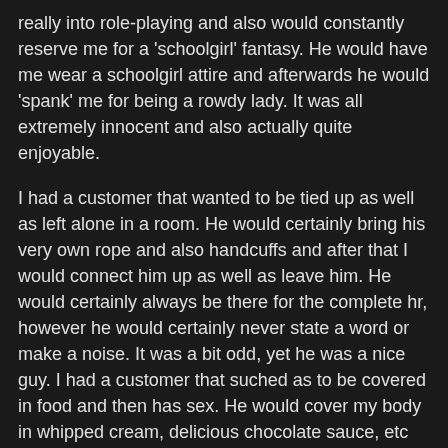really into role-playing and also would constantly reserve me for a 'schoolgirl' fantasy. He would have me wear a schoolgirl attire and afterwards he would 'spank' me for being a rowdy lady. It was all extremely innocent and also actually quite enjoyable.
I had a customer that wanted to be tied up as well as left alone in a room. He would certainly bring his very own rope and also handcuffs and after that I would connect him up as well as leave him. He would certainly always be there for the complete hr, however he would certainly never state a word or make a noise. It was a bit odd, yet he was a nice guy. I had a customer that suched as to be covered in food and then has sex. He would cover my body in whipped cream, delicious chocolate sauce, etc and afterwards we would have sex. It was in fact truly enjoyable as well as type of untidy.